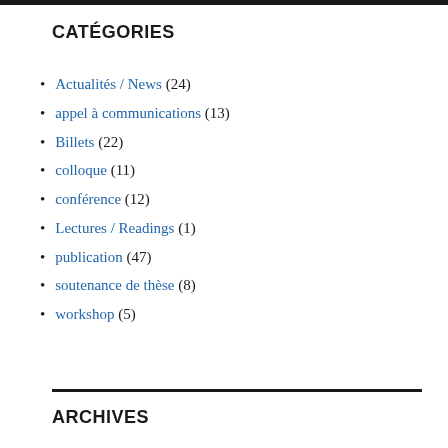CATÉGORIES
Actualités / News (24)
appel à communications (13)
Billets (22)
colloque (11)
conférence (12)
Lectures / Readings (1)
publication (47)
soutenance de thèse (8)
workshop (5)
ARCHIVES